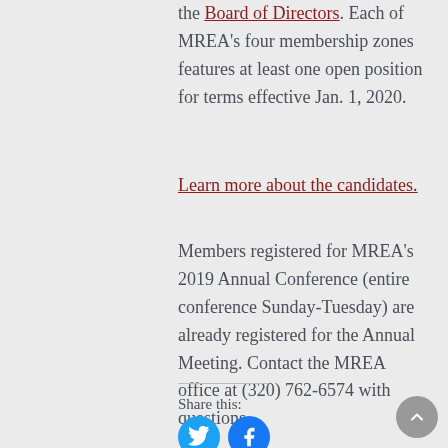the Board of Directors. Each of MREA's four membership zones features at least one open position for terms effective Jan. 1, 2020.
Learn more about the candidates.
Members registered for MREA's 2019 Annual Conference (entire conference Sunday-Tuesday) are already registered for the Annual Meeting. Contact the MREA office at (320) 762-6574 with questions.
Share this: